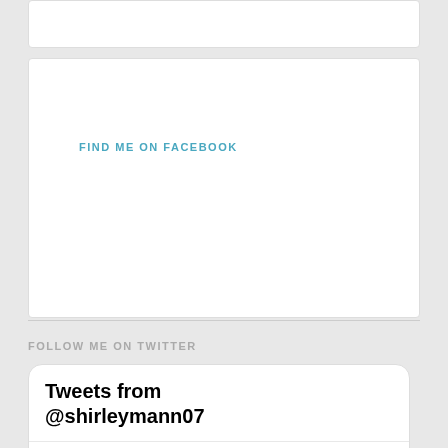FIND ME ON FACEBOOK
FOLLOW ME ON TWITTER
[Figure (screenshot): Twitter widget showing tweets from @shirleymann07 with a tweet by Shirley M... dated Jul 7 about being interviewed by Howard Caine on @ManxRadio about next book 'Bride the Wedding']
Loved being interviewed by Howard Caine on @ManxRadio last night about my next book,